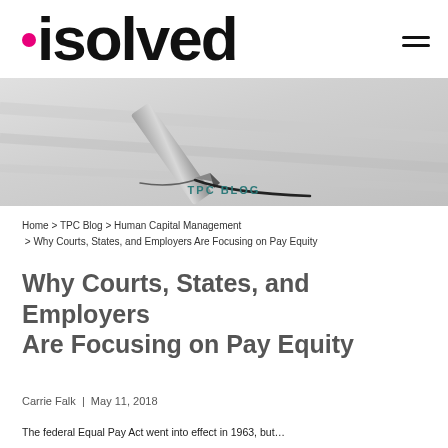[Figure (logo): isolved brand logo with pink dot and hamburger menu icon]
[Figure (photo): Close-up photo of a pen writing on paper, with TPC BLOG label overlaid]
Home > TPC Blog > Human Capital Management > Why Courts, States, and Employers Are Focusing on Pay Equity
Why Courts, States, and Employers Are Focusing on Pay Equity
Carrie Falk | May 11, 2018
The federal Equal Pay Act went into effect in 1963, but...